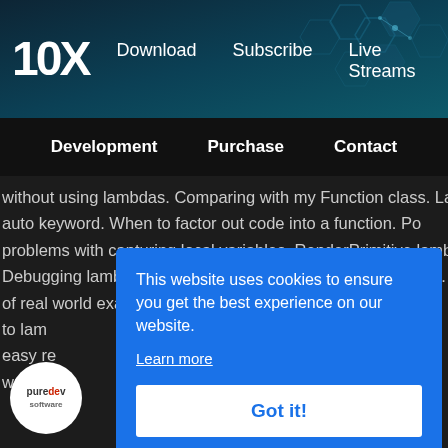[Figure (logo): 10X logo with hexagonal background pattern in teal/dark blue tones]
10X   Download   Subscribe   Live Streams
Development   Purchase   Contact
without using lambdas. Comparing with my Function class. La auto keyword. When to factor out code into a function. Po problems with capturing local variables. RenderPrimitive lamb Debugging lambdas. Good threading practices and lambdas. of real world examples in the 10x codebase, converting exis to lam fo easy re c write t
[Figure (logo): puredev software circular logo]
This website uses cookies to ensure you get the best experience on our website.
Learn more
Got it!